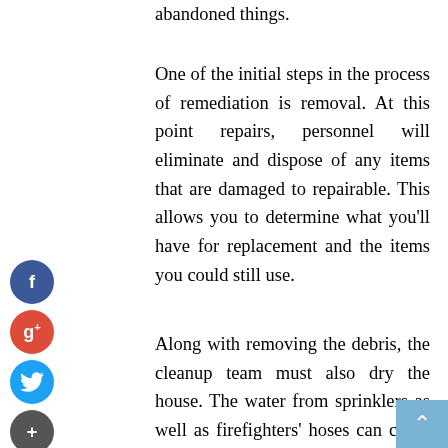abandoned things.
One of the initial steps in the process of remediation is removal. At this point repairs, personnel will eliminate and dispose of any items that are damaged to repairable. This allows you to determine what you'll have for replacement and the items you could still use.
Along with removing the debris, the cleanup team must also dry the house. The water from sprinklers as well as firefighters' hoses can cause harm and can be a great way to exacerbate harm